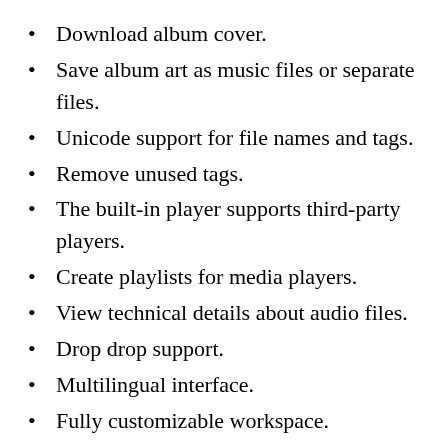Download album cover.
Save album art as music files or separate files.
Unicode support for file names and tags.
Remove unused tags.
The built-in player supports third-party players.
Create playlists for media players.
View technical details about audio files.
Drop drop support.
Multilingual interface.
Fully customizable workspace.
Region reorganization is possible. Can be turned off spam.
Various different options to improve the